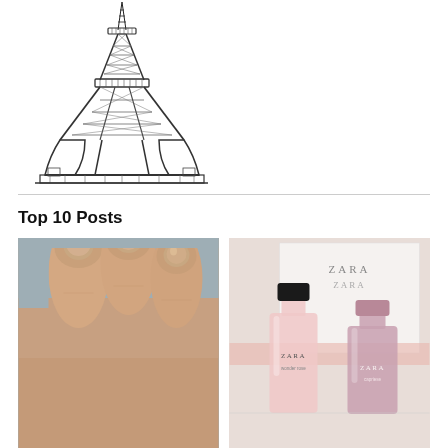[Figure (illustration): Black and white pencil/etching style illustration of the Eiffel Tower, positioned in upper-left area of the page]
Top 10 Posts
[Figure (photo): Close-up photo of a hand showing fingernails with a nude/beige nail polish, against a grey-blue background]
[Figure (photo): Photo of two Zara perfume bottles (ZARA brand) in pink/blush tones with a white box in the background that reads ZARA]